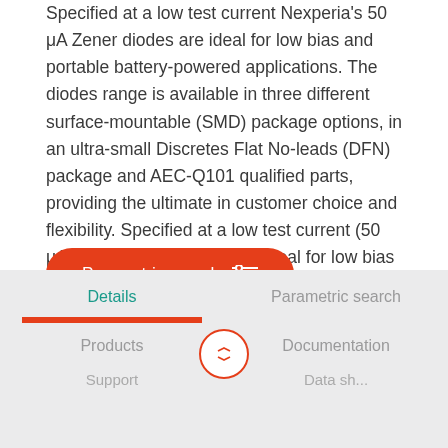Specified at a low test current Nexperia's 50 μA Zener diodes are ideal for low bias and portable battery-powered applications. The diodes range is available in three different surface-mountable (SMD) package options, in an ultra-small Discretes Flat No-leads (DFN) package and AEC-Q101 qualified parts, providing the ultimate in customer choice and flexibility. Specified at a low test current (50 μA), the efficient diodes are ideal for low bias and portable battery-powered devices in mobile, wearable, automotive and industrial applications.
[Figure (other): Red rounded button labeled 'Parametric search' with a filter/sliders icon]
Details | Parametric search | Products | Documentation